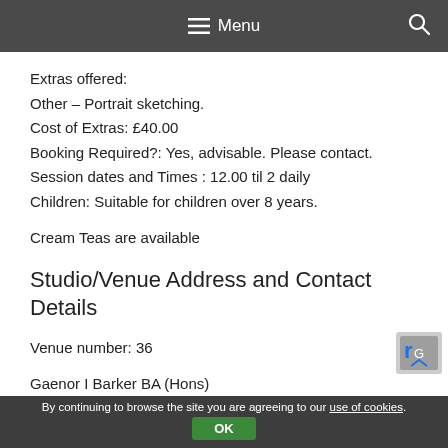Menu
Extras offered:
Other – Portrait sketching.
Cost of Extras: £40.00
Booking Required?: Yes, advisable. Please contact.
Session dates and Times : 12.00 til 2 daily
Children: Suitable for children over 8 years.
Cream Teas are available
Studio/Venue Address and Contact Details
Venue number: 36
Gaenor I  Barker BA (Hons)
Gaenor's Courtyard Gallery,
By continuing to browse the site you are agreeing to our use of cookies. OK